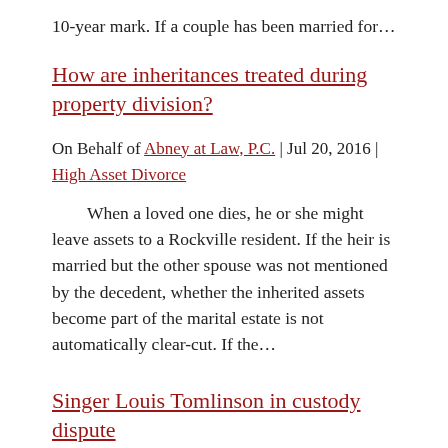10-year mark. If a couple has been married for…
How are inheritances treated during property division?
On Behalf of Abney at Law, P.C. | Jul 20, 2016 | High Asset Divorce
When a loved one dies, he or she might leave assets to a Rockville resident. If the heir is married but the other spouse was not mentioned by the decedent, whether the inherited assets become part of the marital estate is not automatically clear-cut. If the…
Singer Louis Tomlinson in custody dispute